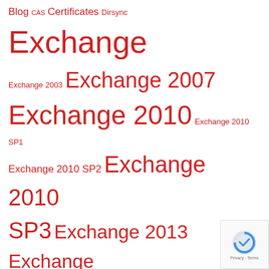[Figure (infographic): Tag cloud of Microsoft Exchange and related technology topics in red text on white background, with word sizes proportional to tag frequency/importance. Tags include: Blog, CAS, Certificates, Dirsync, Exchange, Exchange 2003, Exchange 2007, Exchange 2010, Exchange 2010 SP1, Exchange 2010 SP2, Exchange 2010 SP3, Exchange 2013, Exchange 2013 SP1, Exchange 2016, Exchange 2019, Exchange Online, Exchange Workshop, Humour, Hyper-V, Lync, Managed Availability, Networking, Office 365, Outlook, PowerShell, RBAC, RDCMan, Security, Supportability Dates, TechEd, Tips N]